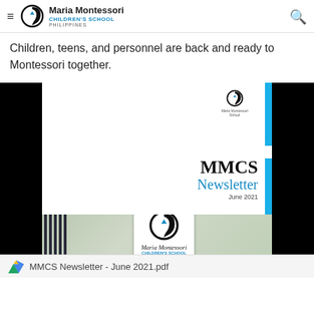Maria Montessori Children's School Philippines
Children, teens, and personnel are back and ready to Montessori together.
[Figure (photo): MMCS Newsletter June 2021 cover image showing the Maria Montessori Children's School Philippines sign mounted on a gate, with newsletter title overlay]
MMCS Newsletter - June 2021.pdf